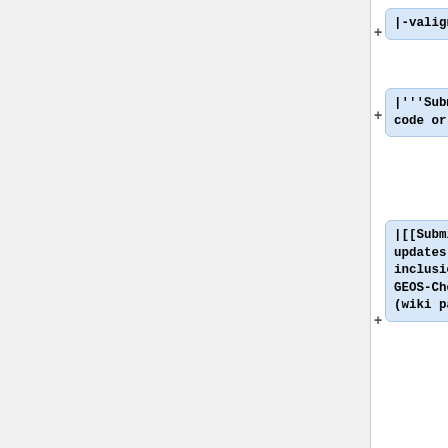|-valign="top"
|'''Submitting code or data'''
|[[Submitting updates for inclusion in GEOS-Chem]] (wiki page)
||Instructions for submitting new source code or data updates to be included into GEOS-Chem.
|}
Revision as of 01:33, 20 May